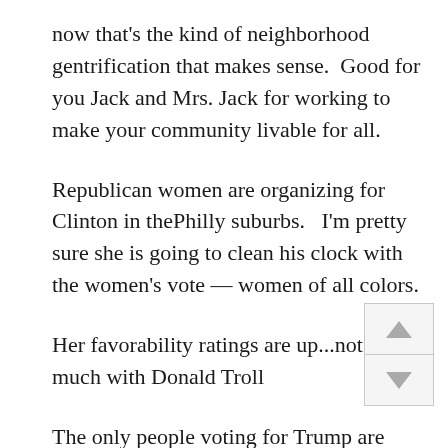now that's the kind of neighborhood gentrification that makes sense.  Good for you Jack and Mrs. Jack for working to make your community livable for all.
Republican women are organizing for Clinton in thePhilly suburbs.   I'm pretty sure she is going to clean his clock with the women's vote — women of all colors.
Her favorability ratings are up...not so much with Donald Troll
The only people voting for Trump are stupi white men